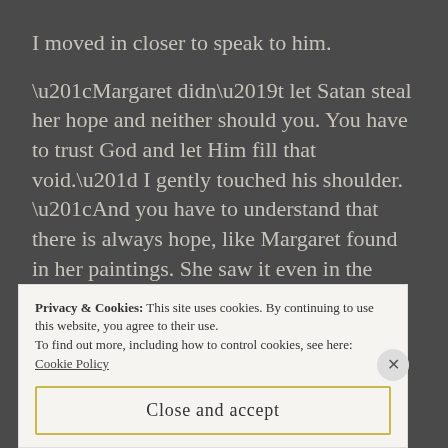I moved in closer to speak to him.
“Margaret didn’t let Satan steal her hope and neither should you. You have to trust God and let Him fill that void.” I gently touched his shoulder. “And you have to understand that there is always hope, like Margaret found in her paintings. She saw it even in the coldest snows in February, even when she battled cancer. She realized her hope was in God all along.”
Privacy & Cookies: This site uses cookies. By continuing to use this website, you agree to their use.
To find out more, including how to control cookies, see here:
Cookie Policy
Close and accept